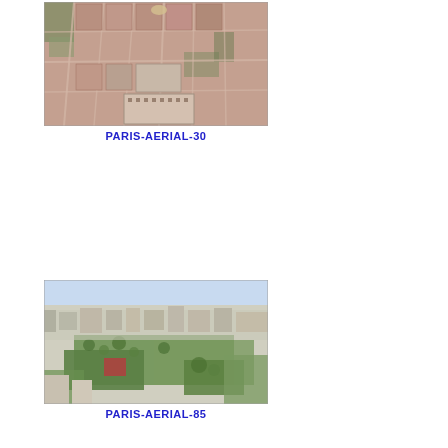[Figure (photo): Aerial photograph of Paris showing dense urban grid with Haussmann-style buildings, streets, and a large institutional building visible among the city blocks.]
PARIS-AERIAL-30
[Figure (photo): Aerial photograph of Paris showing a mix of urban buildings, green parks and tree-lined areas, with modern and classic architecture visible across the cityscape.]
PARIS-AERIAL-85